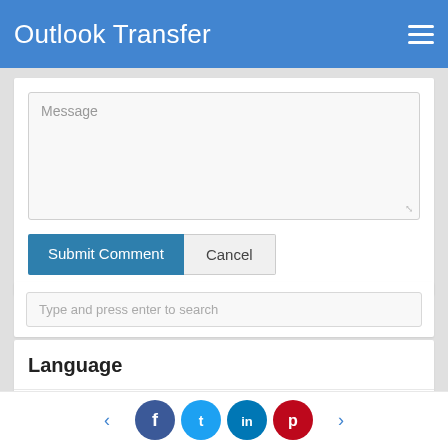Outlook Transfer
[Figure (screenshot): Message textarea input field with placeholder text 'Message' and resize handle]
Submit Comment
Cancel
Type and press enter to search
Language
English
[Figure (other): Social media share icons: Facebook, Twitter, LinkedIn, Pinterest with left/right navigation arrows]